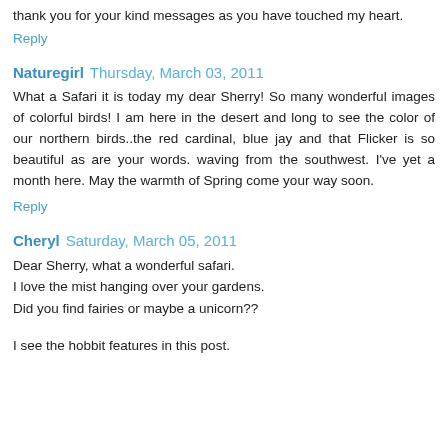thank you for your kind messages as you have touched my heart.
Reply
Naturegirl  Thursday, March 03, 2011
What a Safari it is today my dear Sherry! So many wonderful images of colorful birds! I am here in the desert and long to see the color of our northern birds..the red cardinal, blue jay and that Flicker is so beautiful as are your words. waving from the southwest. I've yet a month here. May the warmth of Spring come your way soon.
Reply
Cheryl  Saturday, March 05, 2011
Dear Sherry, what a wonderful safari.
I love the mist hanging over your gardens.
Did you find fairies or maybe a unicorn??
I see the hobbit features in this post.